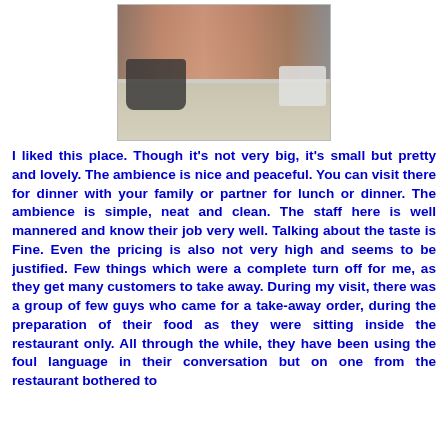[Figure (photo): Exterior photo of a restaurant storefront with a motorcycle parked on the left and a white car on the right, concrete pavement visible]
I liked this place. Though it's not very big, it's small but pretty and lovely. The ambience is nice and peaceful. You can visit there for dinner with your family or partner for lunch or dinner. The ambience is simple, neat and clean. The staff here is well mannered and know their job very well. Talking about the taste is Fine. Even the pricing is also not very high and seems to be justified. Few things which were a complete turn off for me, as they get many customers to take away. During my visit, there was a group of few guys who came for a take-away order, during the preparation of their food as they were sitting inside the restaurant only. All through the while, they have been using the foul language in their conversation but on one from the restaurant bothered to